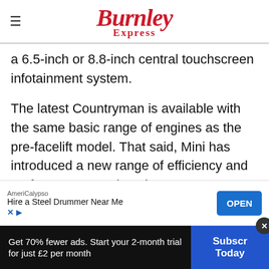Burnley Express
a 6.5-inch or 8.8-inch central touchscreen infotainment system.
The latest Countryman is available with the same basic range of engines as the pre-facelift model. That said, Mini has introduced a new range of efficiency and performance tweaks. There's a new, higher-pressure direct injection system... the petrol engine, while the diesel unit now includ...
[Figure (screenshot): AmeriCalypso advertisement banner: 'Hire a Steel Drummer Near Me' with OPEN button]
Get 70% fewer ads. Start your 2-month trial for just £2 per month
Subscribe Today